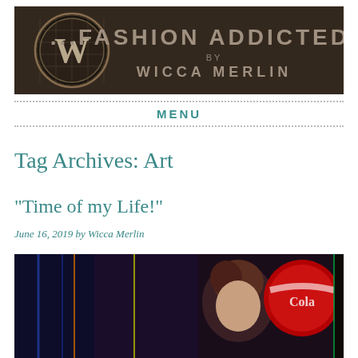[Figure (illustration): Blog header banner with dark brown/metallic background. On the left is a circular emblem with a W letter in metallic grid style. To the right is text reading '...FASHION ADDICTED...' in large metallic letters, with 'BY' and 'WICCA MERLIN' below in smaller metallic text.]
MENU
Tag Archives: Art
“Time of my Life!”
June 16, 2019 by Wicca Merlin
[Figure (photo): Bottom portion of a blog post image showing colorful neon-lit scene with figures, partial view of a Cola sign/logo on the right side.]